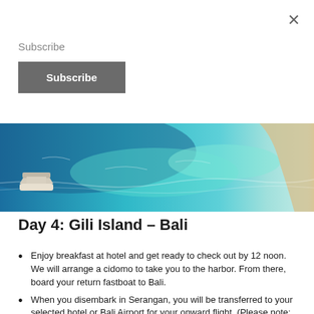×
Subscribe
Subscribe
[Figure (photo): Aerial view of turquoise ocean water with a boat visible on the left and a sandy beach on the right edge]
Day 4: Gili Island – Bali
Enjoy breakfast at hotel and get ready to check out by 12 noon.
We will arrange a cidomo to take you to the harbor. From there, board your return fastboat to Bali.
When you disembark in Serangan, you will be transferred to your selected hotel or Bali Airport for your onward flight. (Please note: This is a join-in transfer provided by the speedboat company. No guide will accompany you on the fastboat.)